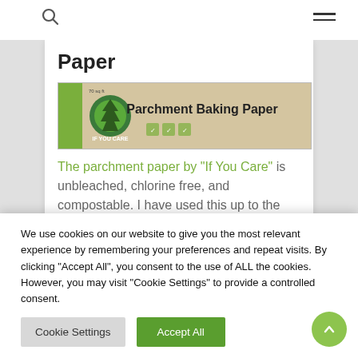Paper
[Figure (photo): Product box of 'If You Care' Parchment Baking Paper, showing logo and product label on a tan/kraft colored background]
The parchment paper by “If You Care” is unbleached, chlorine free, and compostable. I have used this up to the highest oven setting without any issues!
We use cookies on our website to give you the most relevant experience by remembering your preferences and repeat visits. By clicking “Accept All”, you consent to the use of ALL the cookies. However, you may visit "Cookie Settings" to provide a controlled consent.